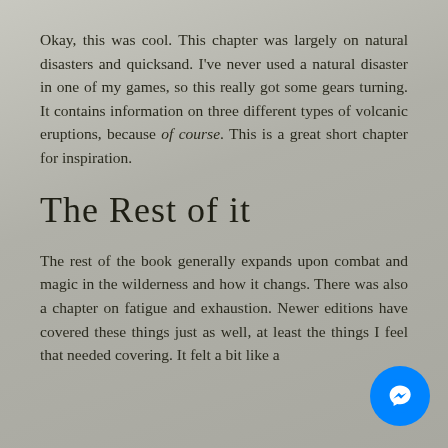Okay, this was cool. This chapter was largely on natural disasters and quicksand. I've never used a natural disaster in one of my games, so this really got some gears turning. It contains information on three different types of volcanic eruptions, because of course. This is a great short chapter for inspiration.
The Rest of it
The rest of the book generally expands upon combat and magic in the wilderness and how it changs. There was also a chapter on fatigue and exhaustion. Newer editions have covered these things just as well, at least the things I feel that needed covering. It felt a bit like a